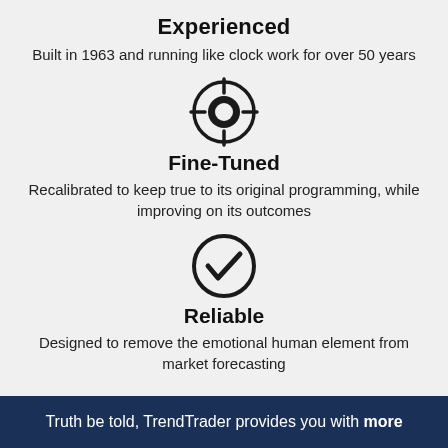Experienced
Built in 1963 and running like clock work for over 50 years
[Figure (illustration): Crosshair/target icon — a circle with crosshair lines, representing fine-tuning or precision targeting]
Fine-Tuned
Recalibrated to keep true to its original programming, while improving on its outcomes
[Figure (illustration): Circle with a checkmark inside, representing reliability]
Reliable
Designed to remove the emotional human element from market forecasting
Truth be told, TrendTrader provides you with more